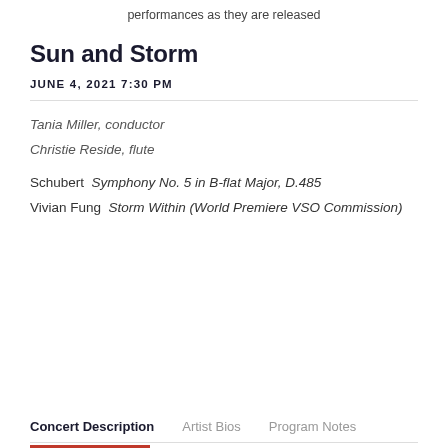performances as they are released
Sun and Storm
JUNE 4, 2021 7:30 PM
Tania Miller, conductor
Christie Reside, flute
Schubert  Symphony No. 5 in B-flat Major, D.485
Vivian Fung  Storm Within (World Premiere VSO Commission)
Concert Description    Artist Bios    Program Notes